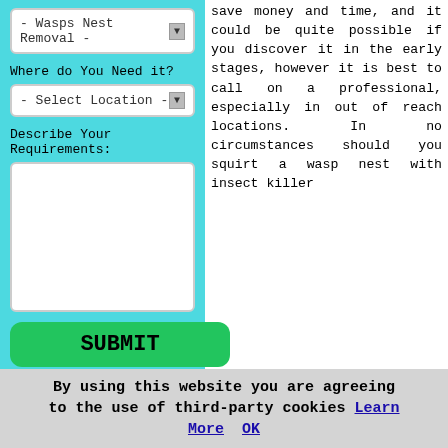[Figure (screenshot): Web form panel with cyan background showing a dropdown for 'Wasps Nest Removal', a 'Where do You Need it?' label with Select Location dropdown, a 'Describe Your Requirements:' label with blank textarea, and a green SUBMIT button.]
save money and time, and it could be quite possible if you discover it in the early stages, however it is best to call on a professional, especially in out of reach locations. In no circumstances should you squirt a wasp nest with insect killer or try to poke it or knock it down. Engaging in this type of action is liable to annoy the insects inside, and will encourage them to leave the nest and sting the first
By using this website you are agreeing to the use of third-party cookies Learn More OK